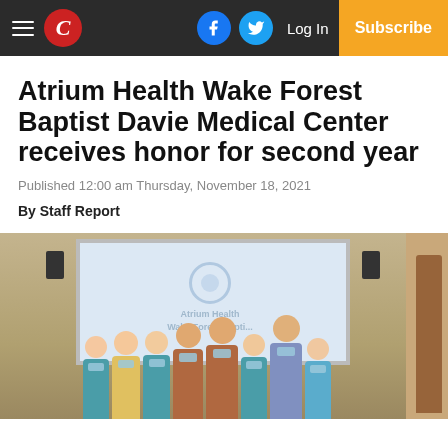C | Log In | Subscribe
Atrium Health Wake Forest Baptist Davie Medical Center receives honor for second year
Published 12:00 am Thursday, November 18, 2021
By Staff Report
[Figure (photo): Group of healthcare workers wearing face masks standing in front of a projection screen displaying the Atrium Health Wake Forest Baptist logo in a conference room]